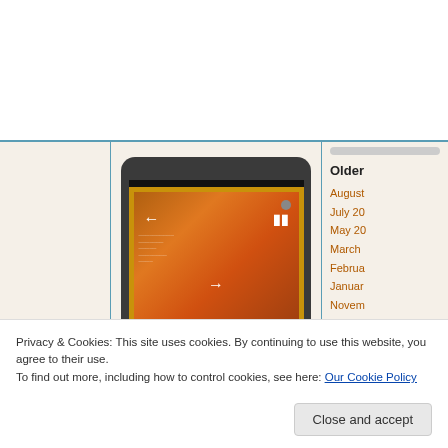[Figure (screenshot): Website screenshot showing a slideshow widget with an orange/golden framed image, navigation arrows and pause button, on a beige background with a sidebar showing archive links]
Older
August
July 20
May 20
March
February
January
November
October
September
August
July 20
Privacy & Cookies: This site uses cookies. By continuing to use this website, you agree to their use.
To find out more, including how to control cookies, see here: Our Cookie Policy
Close and accept